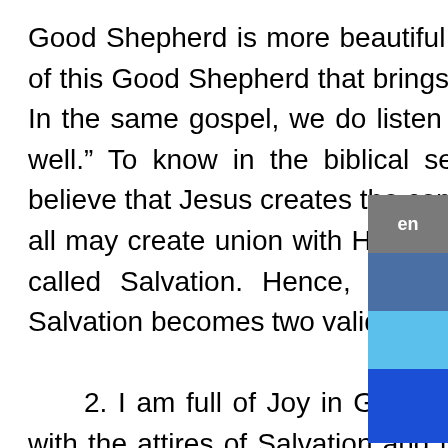Good Shepherd is more beautiful than everything in the world. The beauty of this Good Shepherd that brings us to stick with him for another 25 years. In the same gospel, we do listen “I know my sheep and they know me as well.” To know in the biblical sense means “to be in communion.” We believe that Jesus creates the communion with us, with each of you that we all may create union with Him. To be in union with God forever and ever is called Salvation. Hence, the beauty of the Good Shepherd and the Salvation become two valid reasons to thank him.

2. I am full of Joy in God (first reading) because God has clothed us with the attires of Salvation and the mantle of triumph. For us, God is our Joy (the Gospel). Joy becomes the basis of our submission to Him. We remain with Him already for 25 years because our source is Joy, and we have tried that Joy. Therefore, we would like to continue for another 25 years because we want to try that Joy all the